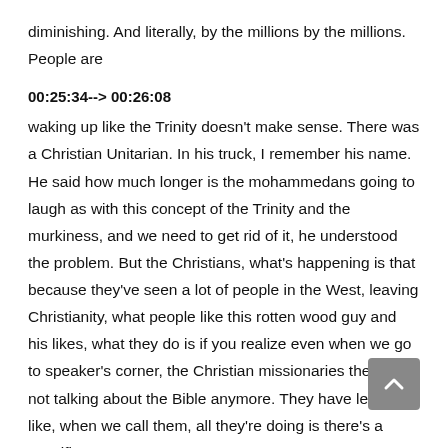diminishing. And literally, by the millions by the millions. People are
00:25:34--> 00:26:08
waking up like the Trinity doesn't make sense. There was a Christian Unitarian. In his truck, I remember his name. He said how much longer is the mohammedans going to laugh as with this concept of the Trinity and the murkiness, and we need to get rid of it, he understood the problem. But the Christians, what's happening is that because they've seen a lot of people in the West, leaving Christianity, what people like this rotten wood guy and his likes, what they do is if you realize even when we go to speaker's corner, the Christian missionaries there are not talking about the Bible anymore. They have left it's like, when we call them, all they're doing is there's a specific